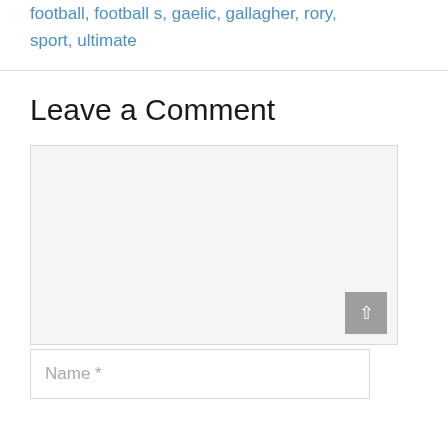football, football s, gaelic, gallagher, rory, sport, ultimate
Leave a Comment
[Figure (screenshot): Empty comment textarea input box with light grey background and a grey scroll-to-top button in the bottom right corner]
Name *